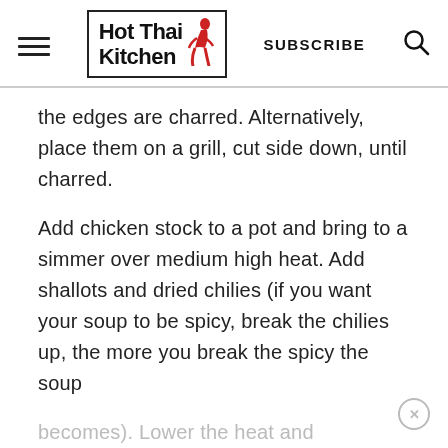Hot Thai Kitchen — SUBSCRIBE
the edges are charred. Alternatively, place them on a grill, cut side down, until charred.
Add chicken stock to a pot and bring to a simmer over medium high heat. Add shallots and dried chilies (if you want your soup to be spicy, break the chilies up, the more you break the spicy the soup becomes). Lower the heat and